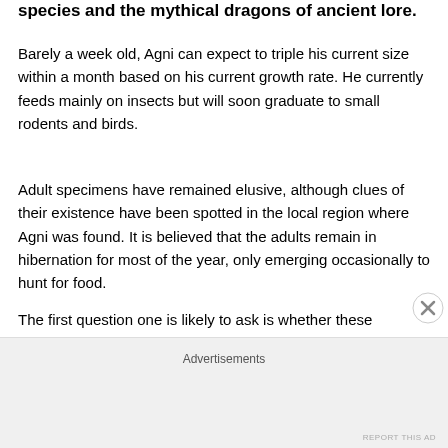species and the mythical dragons of ancient lore.
Barely a week old, Agni can expect to triple his current size within a month based on his current growth rate. He currently feeds mainly on insects but will soon graduate to small rodents and birds.
Adult specimens have remained elusive, although clues of their existence have been spotted in the local region where Agni was found. It is believed that the adults remain in hibernation for most of the year, only emerging occasionally to hunt for food.
The first question one is likely to ask is whether these creatures have the ability to “breathe” fire like the dragons
Advertisements